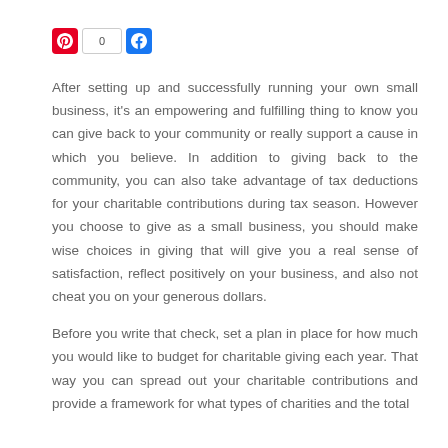[Figure (other): Social sharing bar with Pinterest button, share count showing 0, and Facebook button]
After setting up and successfully running your own small business, it's an empowering and fulfilling thing to know you can give back to your community or really support a cause in which you believe. In addition to giving back to the community, you can also take advantage of tax deductions for your charitable contributions during tax season. However you choose to give as a small business, you should make wise choices in giving that will give you a real sense of satisfaction, reflect positively on your business, and also not cheat you on your generous dollars.
Before you write that check, set a plan in place for how much you would like to budget for charitable giving each year. That way you can spread out your charitable contributions and provide a framework for what types of charities and the total